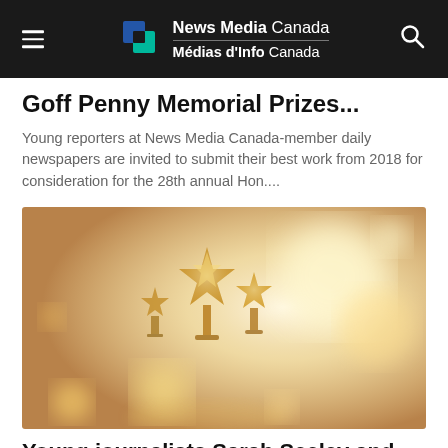News Media Canada / Médias d'Info Canada
Goff Penny Memorial Prizes...
Young reporters at News Media Canada-member daily newspapers are invited to submit their best work from 2018 for consideration for the 28th annual Hon....
[Figure (photo): Close-up photo of golden star-shaped award trophies with a warm bokeh background]
Young journalists Sarah Seeley and Zane Schwartz win 27th Annual Hon....